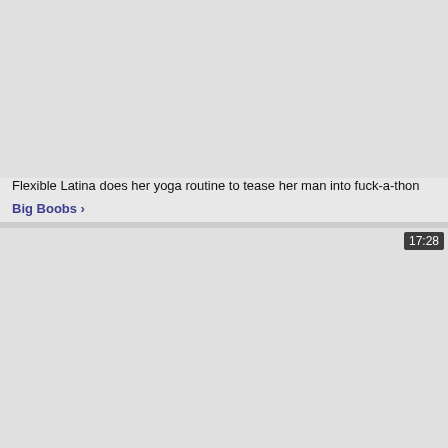[Figure (screenshot): Video thumbnail placeholder, light gray background, top card]
Flexible Latina does her yoga routine to tease her man into fuck-a-thon
Big Boobs >
[Figure (screenshot): Video thumbnail placeholder, light gray background, bottom card with duration badge 17:28]